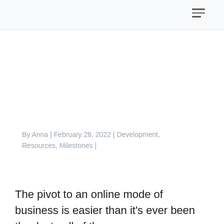By Anna | February 28, 2022 | Development, Resources, Milestones |
The pivot to an online mode of business is easier than it's ever been thanks to all of the